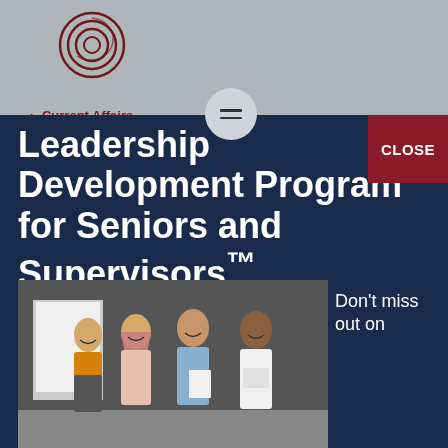[Figure (logo): Circular logo with concentric rings in dark red/maroon color]
> Current Affairs
Leadership Development Program for Seniors and Supervisors™
[Figure (photo): Four young professionals standing together smiling, one wearing a yellow jacket, in front of a whiteboard]
Don't miss out on
CLOSE